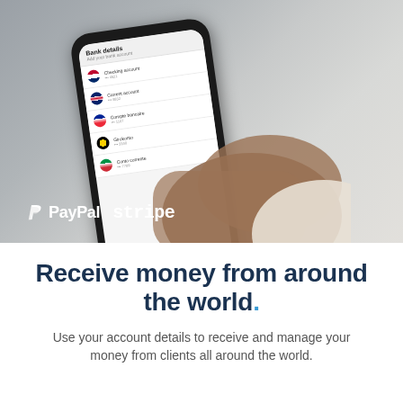[Figure (photo): A hand holding a smartphone displaying a bank details/accounts screen with multiple country flags and account entries. PayPal and Stripe logos are overlaid on the lower-left of the photo.]
Receive money from around the world.
Use your account details to receive and manage your money from clients all around the world.